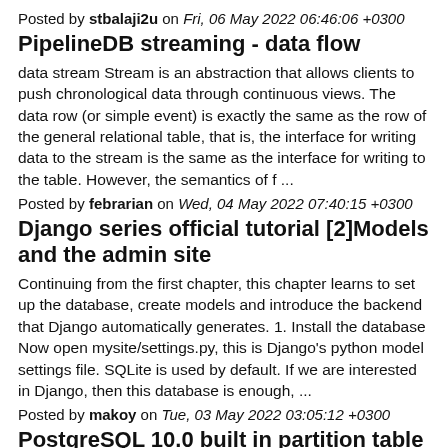Posted by stbalaji2u on Fri, 06 May 2022 06:46:06 +0300
PipelineDB streaming - data flow
data stream Stream is an abstraction that allows clients to push chronological data through continuous views. The data row (or simple event) is exactly the same as the row of the general relational table, that is, the interface for writing data to the stream is the same as the interface for writing to the table. However, the semantics of f ...
Posted by febrarian on Wed, 04 May 2022 07:40:15 +0300
Django series official tutorial [2]Models and the admin site
Continuing from the first chapter, this chapter learns to set up the database, create models and introduce the backend that Django automatically generates. 1. Install the database Now open mysite/settings.py, this is Django's python model settings file. SQLite is used by default. If we are interested in Django, then this database is enough, ...
Posted by makoy on Tue, 03 May 2022 03:05:12 +0300
PostgreSQL 10.0 built in partition table (forwarding)
Originally https://how.alias.com/article/00013...